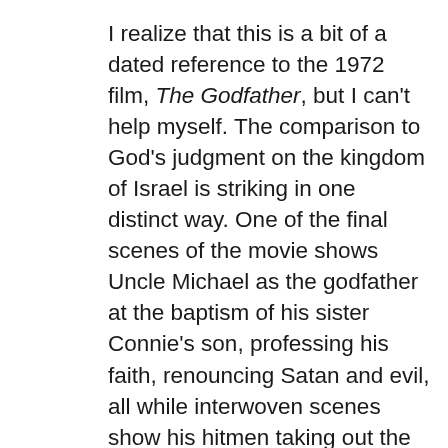I realize that this is a bit of a dated reference to the 1972 film, The Godfather, but I can't help myself. The comparison to God's judgment on the kingdom of Israel is striking in one distinct way. One of the final scenes of the movie shows Uncle Michael as the godfather at the baptism of his sister Connie's son, professing his faith, renouncing Satan and evil, all while interwoven scenes show his hitmen taking out the heads of rival families. It is a profoundly vivid and stark portrayal of a hypocritical faith. God does not tolerate faithful religious ritual that covers over disregard for moral and ethical integrity. Well, in the movies he does, Corleone dies a natural death as an old man outside of a villa in Sicily, but in reality, “his justice rolls down like mighty waters and his righteousness like an ever-flowing stream.” It is who he is and what he does. His just judgment is his love and his loving justice is his